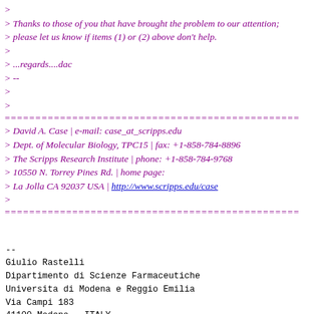> Thanks to those of you that have brought the problem to our attention;
> please let us know if items (1) or (2) above don't help.
>
> ...regards....dac
> --
>
>
================================================
> David A. Case | e-mail: case_at_scripps.edu
> Dept. of Molecular Biology, TPC15 | fax: +1-858-784-8896
> The Scripps Research Institute | phone: +1-858-784-9768
> 10550 N. Torrey Pines Rd. | home page:
> La Jolla CA 92037 USA | http://www.scripps.edu/case
>
================================================
--
Giulio Rastelli
Dipartimento di Scienze Farmaceutiche
Universita di Modena e Reggio Emilia
Via Campi 183
41100 Modena - ITALY